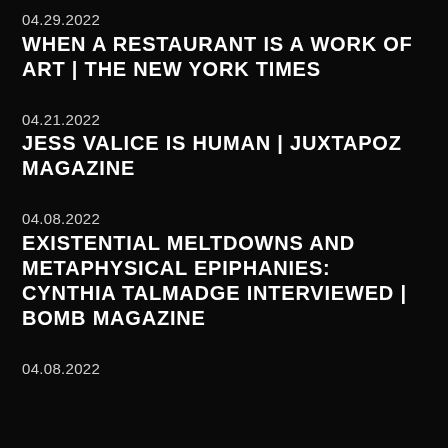04.29.2022
WHEN A RESTAURANT IS A WORK OF ART | THE NEW YORK TIMES
04.21.2022
JESS VALICE IS HUMAN | JUXTAPOZ MAGAZINE
04.08.2022
EXISTENTIAL MELTDOWNS AND METAPHYSICAL EPIPHANIES: CYNTHIA TALMADGE INTERVIEWED | BOMB MAGAZINE
04.08.2022